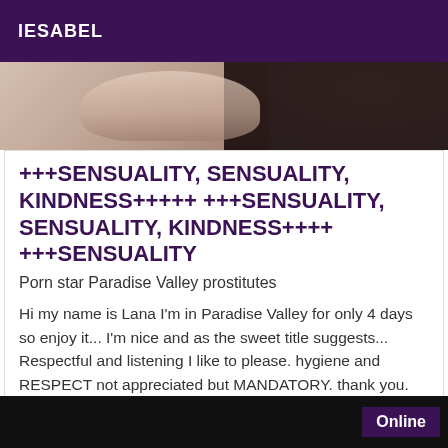IESABEL
[Figure (photo): Partial view of a person, close-up, dark lace clothing, skin tones visible, dark background on right side]
+++SENSUALITY, SENSUALITY, KINDNESS+++++ +++SENSUALITY, SENSUALITY, KINDNESS++++ +++SENSUALITY
Porn star Paradise Valley prostitutes
Hi my name is Lana I'm in Paradise Valley for only 4 days so enjoy it... I'm nice and as the sweet title suggests... Respectful and listening I like to please. hygiene and RESPECT not appreciated but MANDATORY. thank you. contact me for more info. see you soon ;-). kisses. where?!? real photo... chestnut 50kg 1m60 white skin freckle..29 years old.
Online